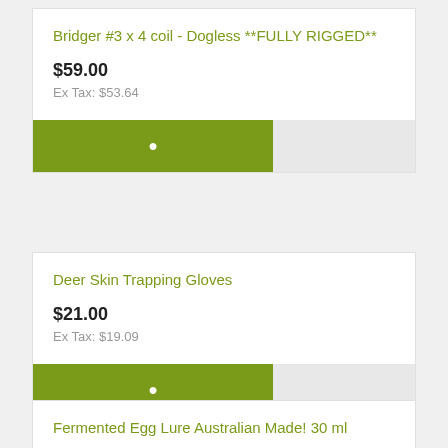Bridger #3 x 4 coil - Dogless **FULLY RIGGED**
$59.00
Ex Tax: $53.64
Deer Skin Trapping Gloves
$21.00
Ex Tax: $19.09
Fermented Egg Lure Australian Made! 30 ml